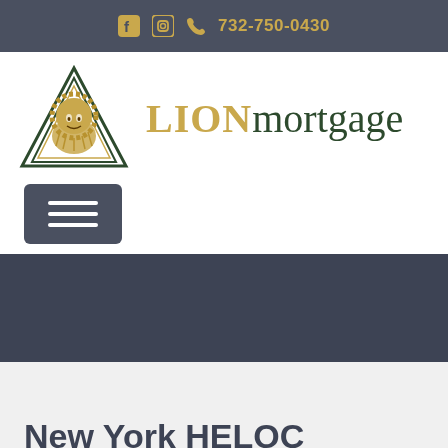f  ⊙  ✆ 732-750-0430
[Figure (logo): LION mortgage logo with lion in triangle and text]
[Figure (other): Hamburger menu button (three horizontal lines)]
[Figure (other): Dark grey navigation/hero band]
New York HELOC